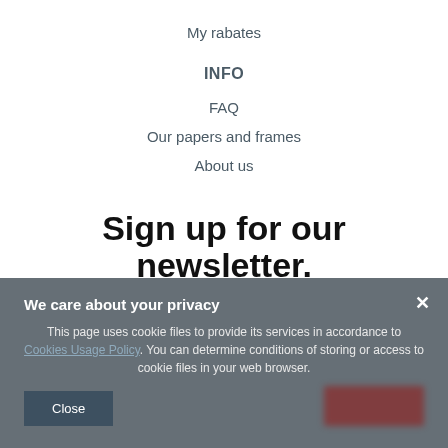My rabates
INFO
FAQ
Our papers and frames
About us
Sign up for our newsletter.
We care about your privacy
This page uses cookie files to provide its services in accordance to Cookies Usage Policy. You can determine conditions of storing or access to cookie files in your web browser.
Close